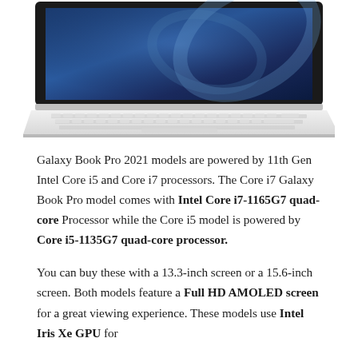[Figure (photo): A white Samsung Galaxy Book Pro laptop viewed from above at an angle, showing the keyboard and a screen with a blue abstract/space wallpaper. The laptop is photographed against a white background.]
Galaxy Book Pro 2021 models are powered by 11th Gen Intel Core i5 and Core i7 processors. The Core i7 Galaxy Book Pro model comes with Intel Core i7-1165G7 quad-core Processor while the Core i5 model is powered by Core i5-1135G7 quad-core processor.
You can buy these with a 13.3-inch screen or a 15.6-inch screen. Both models feature a Full HD AMOLED screen for a great viewing experience. These models use Intel Iris Xe GPU for graphics along with the processing of the processors.